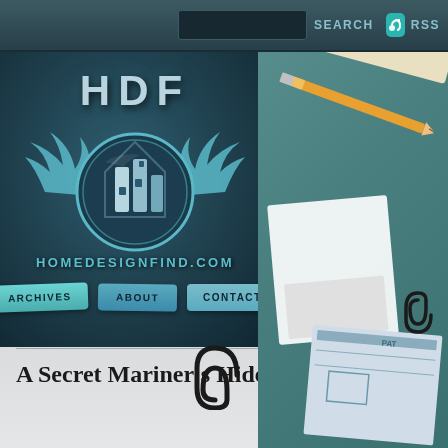SEARCH  RSS
[Figure (logo): HDF HomeDesignFind.com logo with winged house emblem on dark teal background, showing a circular badge with a stylized house icon and wings, above text HOMEDESIGNFIND.COM]
[Figure (photo): Decorative right side showing ruler, pencil, paper clip, polaroid photo, and blueprint papers on teal desk surface]
HDF
HOMEDESIGNFIND.COM
ARCHIVES
ABOUT
CONTACT
A Secret Mariner's Hideout on